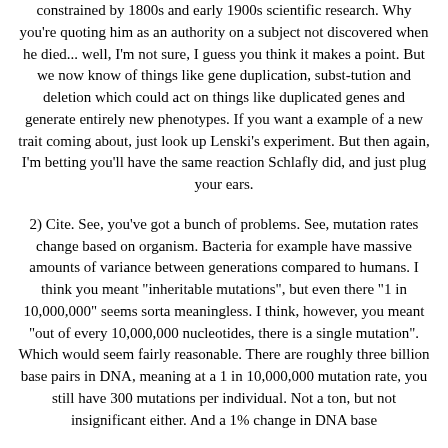constrained by 1800s and early 1900s scientific research. Why you're quoting him as an authority on a subject not discovered when he died... well, I'm not sure, I guess you think it makes a point. But we now know of things like gene duplication, subst-tution and deletion which could act on things like duplicated genes and generate entirely new phenotypes. If you want a example of a new trait coming about, just look up Lenski's experiment. But then again, I'm betting you'll have the same reaction Schlafly did, and just plug your ears.
2) Cite. See, you've got a bunch of problems. See, mutation rates change based on organism. Bacteria for example have massive amounts of variance between generations compared to humans. I think you meant "inheritable mutations", but even there "1 in 10,000,000" seems sorta meaningless. I think, however, you meant "out of every 10,000,000 nucleotides, there is a single mutation". Which would seem fairly reasonable. There are roughly three billion base pairs in DNA, meaning at a 1 in 10,000,000 mutation rate, you still have 300 mutations per individual. Not a ton, but not insignificant either. And a 1% change in DNA base